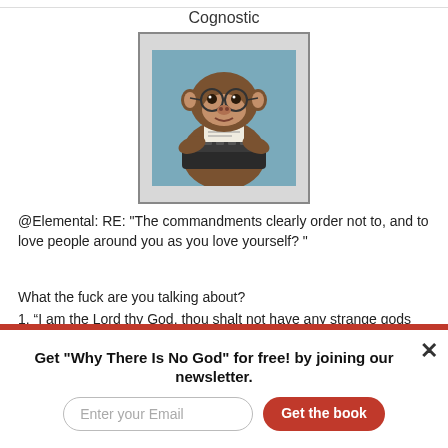Cognostic
[Figure (photo): A chimpanzee dressed in glasses sitting at a typewriter, framed in a grey bordered box. The background is a bluish-grey sky.]
@Elemental: RE: "The commandments clearly order not to, and to love people around you as you love yourself? "
What the fuck are you talking about?
1. “I am the Lord thy God, thou shalt not have any strange gods before Me.”
2. “Thou shalt not take the name of the Lord thy God in vain.”
Get "Why There Is No God" for free! by joining our newsletter.
Enter your Email
Get the book